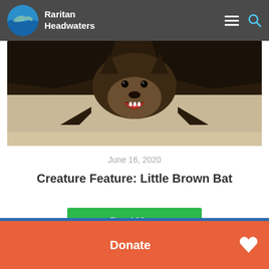Raritan Headwaters
[Figure (photo): Close-up photograph of a little brown bat with mouth open, dark fur, showing its face and claws on a sandy surface]
June 16, 2020
Creature Feature: Little Brown Bat
Read More
Donate